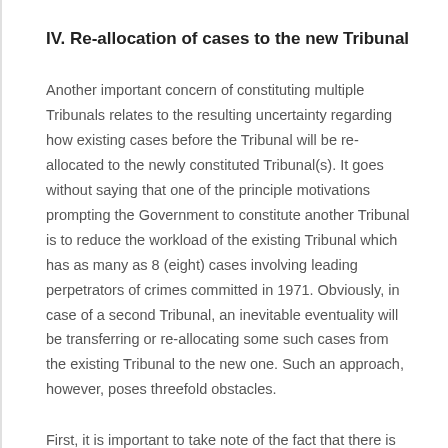IV. Re-allocation of cases to the new Tribunal
Another important concern of constituting multiple Tribunals relates to the resulting uncertainty regarding how existing cases before the Tribunal will be re-allocated to the newly constituted Tribunal(s). It goes without saying that one of the principle motivations prompting the Government to constitute another Tribunal is to reduce the workload of the existing Tribunal which has as many as 8 (eight) cases involving leading perpetrators of crimes committed in 1971. Obviously, in case of a second Tribunal, an inevitable eventuality will be transferring or re-allocating some such cases from the existing Tribunal to the new one. Such an approach, however, poses threefold obstacles.
First, it is important to take note of the fact that there is no existing legal provision within the Act providing for any